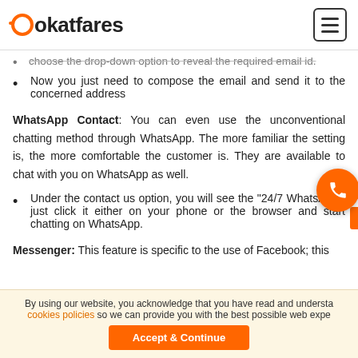lookatfares
choose the drop-down option to reveal the required email id.
Now you just need to compose the email and send it to the concerned address
WhatsApp Contact: You can even use the unconventional chatting method through WhatsApp. The more familiar the setting is, the more comfortable the customer is. They are available to chat with you on WhatsApp as well.
Under the contact us option, you will see the "24/7 WhatsApp"; just click it either on your phone or the browser and start chatting on WhatsApp.
Messenger: This feature is specific to the use of Facebook; this
By using our website, you acknowledge that you have read and understand our cookies policies so we can provide you with the best possible web experience.